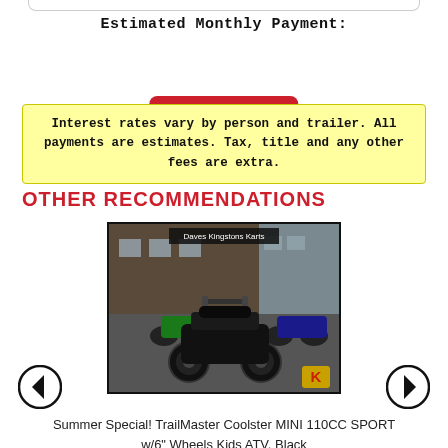Estimated Monthly Payment:
Calculate
Interest rates vary by person and trailer. All payments are estimates. Tax, title and any other fees are extra.
OTHER RECOMMENDATIONS
[Figure (photo): Photo of a black TrailMaster Coolster MINI 110CC SPORT ATV parked outdoors in front of a dealer lot showing multiple ATVs. Sign reads 'Daves Kingstons Karts'. Dealer logo (K) in bottom right corner.]
Summer Special! TrailMaster Coolster MINI 110CC SPORT w/6" Wheels Kids ATV, Black